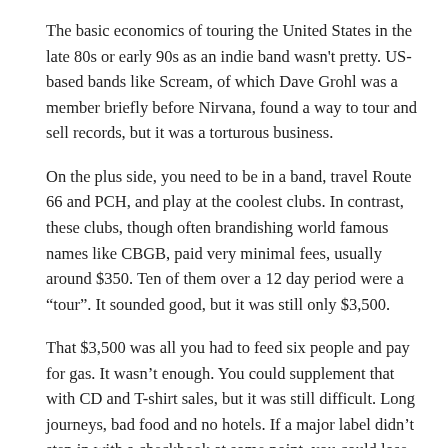The basic economics of touring the United States in the late 80s or early 90s as an indie band wasn't pretty. US-based bands like Scream, of which Dave Grohl was a member briefly before Nirvana, found a way to tour and sell records, but it was a torturous business.
On the plus side, you need to be in a band, travel Route 66 and PCH, and play at the coolest clubs. In contrast, these clubs, though often brandishing world famous names like CBGB, paid very minimal fees, usually around $350. Ten of them over a 12 day period were a “tour”. It sounded good, but it was still only $3,500.
That $3,500 was all you had to feed six people and pay for gas. It wasn’t enough. You could supplement that with CD and T-shirt sales, but it was still difficult. Long journeys, bad food and no hotels. If a major label didn’t step in with a checkbook at some point, you could lose the drummer to scurvy.
It was always a lot of fun and there was a kind of “independent support community” that offered sleeping space and even free meals. For Irish bands, coming back to Ireland with a tour t-shirt